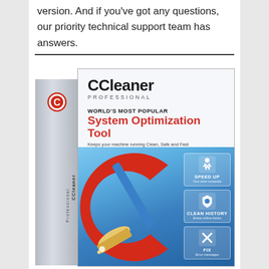version. And if you've got any questions, our priority technical support team has answers.
[Figure (photo): CCleaner Professional product box. The box has a white top section showing the CCleaner logo and branding text: 'CCleaner PROFESSIONAL', 'WORLD'S MOST POPULAR', 'System Optimization Tool', 'Keeps your machine running Clean, Safe and Fast'. The lower portion of the box shows a blue gradient background with a large red and blue 'C' logo with a broom/cleaning brush. On the right side of the box are three feature badges: 'SPEED UP Your slow computer', 'CLEAN HISTORY Erase online tracks', 'FIX Error messages'. The left spine of the box shows 'CCleaner Professional' text rotated vertically.]